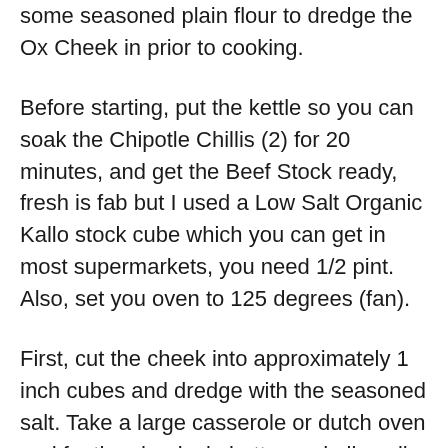some seasoned plain flour to dredge the Ox Cheek in prior to cooking.
Before starting, put the kettle so you can soak the Chipotle Chillis (2) for 20 minutes, and get the Beef Stock ready, fresh is fab but I used a Low Salt Organic Kallo stock cube which you can get in most supermarkets, you need 1/2 pint. Also, set you oven to 125 degrees (fan).
First, cut the cheek into approximately 1 inch cubes and dredge with the seasoned salt. Take a large casserole or dutch oven and fry the cheeks in butter and olive oil until browned, and remove from the pan.
Chop the Onion, Carrot and Celery into small chunks and add to the pan, cooking on a lowish heat for 5 -10 minutes until soft. Add the peppercorns (crushed), 2 Star Anise, 2 – 3 Cloves, a quarter length of Cinnamon stick and cook for